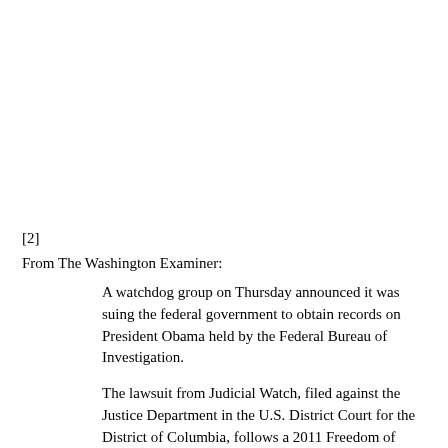[2]
From The Washington Examiner:
A watchdog group on Thursday announced it was suing the federal government to obtain records on President Obama held by the Federal Bureau of Investigation.
The lawsuit from Judicial Watch, filed against the Justice Department in the U.S. District Court for the District of Columbia, follows a 2011 Freedom of Information Act request in which the group sought…